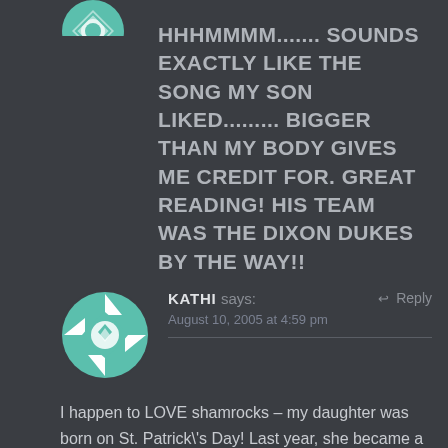[Figure (illustration): Partial teal/blue avatar icon visible at top left, cropped]
HHHMMMM....... SOUNDS EXACTLY LIKE THE SONG MY SON LIKED......... BIGGER THAN MY BODY GIVES ME CREDIT FOR. GREAT READING! HIS TEAM WAS THE DIXON DUKES BY THE WAY!!
[Figure (illustration): Round avatar with teal and white geometric quilt/snowflake pattern on dark background]
KATHI says:  August 10, 2005 at 4:59 pm
I happen to LOVE shamrocks – my daughter was born on St. Patrick\'s Day! Last year, she became a proud Alva (Oklahoma) Goldbug. What is a goldbug, you ask? Nothing...the name